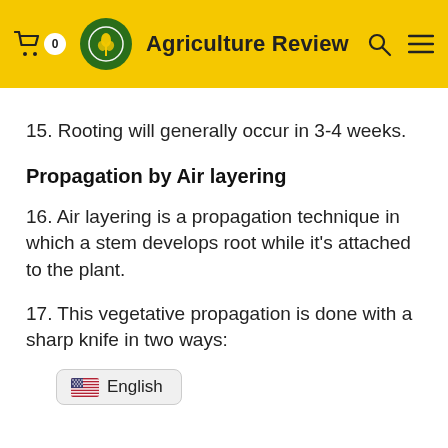Agriculture Review
15. Rooting will generally occur in 3-4 weeks.
Propagation by Air layering
16. Air layering is a propagation technique in which a stem develops root while it's attached to the plant.
17. This vegetative propagation is done with a sharp knife in two ways:
[Figure (other): English language selector button with US flag emoji]